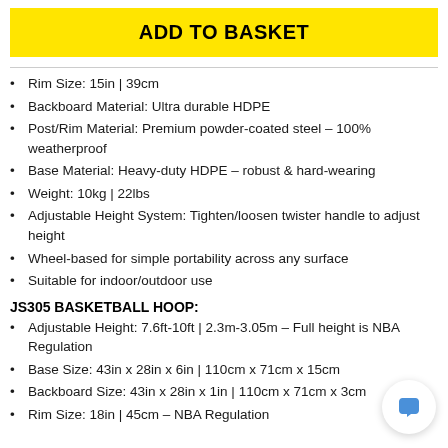ADD TO BASKET
Rim Size: 15in | 39cm
Backboard Material: Ultra durable HDPE
Post/Rim Material: Premium powder-coated steel – 100% weatherproof
Base Material: Heavy-duty HDPE – robust & hard-wearing
Weight: 10kg | 22lbs
Adjustable Height System: Tighten/loosen twister handle to adjust height
Wheel-based for simple portability across any surface
Suitable for indoor/outdoor use
JS305 BASKETBALL HOOP:
Adjustable Height: 7.6ft-10ft | 2.3m-3.05m – Full height is NBA Regulation
Base Size: 43in x 28in x 6in | 110cm x 71cm x 15cm
Backboard Size: 43in x 28in x 1in | 110cm x 71cm x 3cm
Rim Size: 18in | 45cm – NBA Regulation